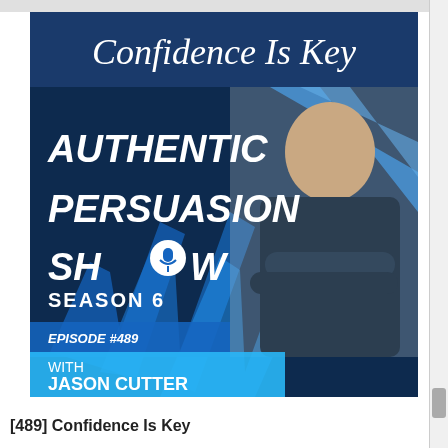[Figure (illustration): Podcast episode cover art for 'Authentic Persuasion Show' Season 6, Episode #489. Dark navy blue background with large bold white text reading 'AUTHENTIC PERSUASION SHOW' and 'SEASON 6'. Blue diagonal arrow graphics in background. Top text reads 'Confidence Is Key' in large italic serif font on navy background. Bottom left banner says 'EPISODE #489' and 'WITH JASON CUTTER'. Right side shows a smiling man in a dark blazer with arms crossed.]
[489] Confidence Is Key